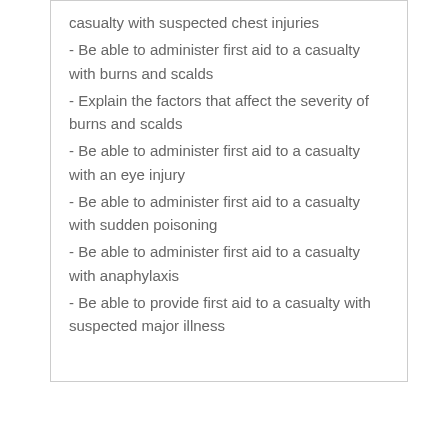casualty with suspected chest injuries
- Be able to administer first aid to a casualty with burns and scalds
- Explain the factors that affect the severity of burns and scalds
- Be able to administer first aid to a casualty with an eye injury
- Be able to administer first aid to a casualty with sudden poisoning
- Be able to administer first aid to a casualty with anaphylaxis
- Be able to provide first aid to a casualty with suspected major illness